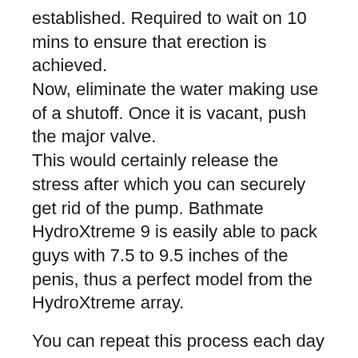established. Required to wait on 10 mins to ensure that erection is achieved.
Now, eliminate the water making use of a shutoff. Once it is vacant, push the major valve.
This would certainly release the stress after which you can securely get rid of the pump. Bathmate HydroXtreme 9 is easily able to pack guys with 7.5 to 9.5 inches of the penis, thus a perfect model from the HydroXtreme array.
You can repeat this process each day in order to boost your sex-related performance.
Attributes Of Bathmate HydroXtreme9. According to the developers of this product, Bathmate HydroXtreme 9 is the only...